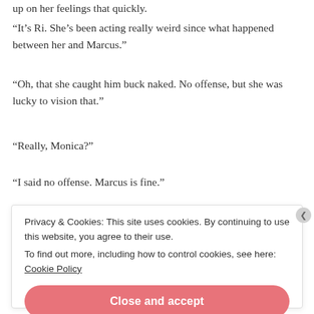up on her feelings that quickly.
“It’s Ri. She’s been acting really weird since what happened between her and Marcus.”
“Oh, that she caught him buck naked. No offense, but she was lucky to vision that.”
“Really, Monica?”
“I said no offense. Marcus is fine.”
Privacy & Cookies: This site uses cookies. By continuing to use this website, you agree to their use.
To find out more, including how to control cookies, see here: Cookie Policy
Close and accept